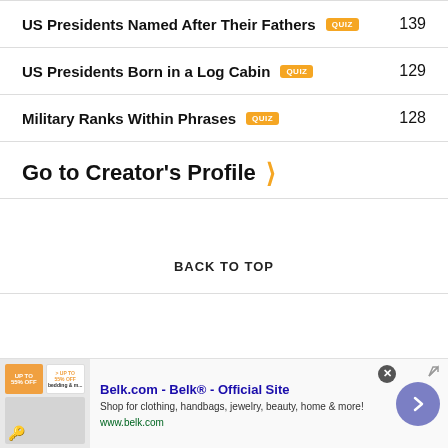US Presidents Named After Their Fathers  139
US Presidents Born in a Log Cabin  129
Military Ranks Within Phrases  128
Go to Creator's Profile
BACK TO TOP
[Figure (screenshot): Advertisement for Belk.com - Belk Official Site. Shows product images, text 'Shop for clothing, handbags, jewelry, beauty, home & more!' and url www.belk.com with navigation arrow button.]